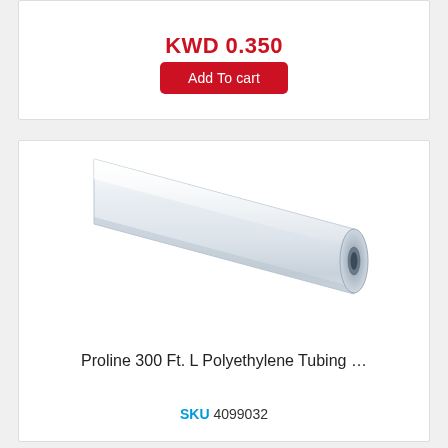KWD 0.350
Add To cart
[Figure (photo): White translucent polyethylene tubing shown at a diagonal angle, with visible hollow circular opening at one end.]
Proline 300 Ft. L Polyethylene Tubing …
SKU 4099032